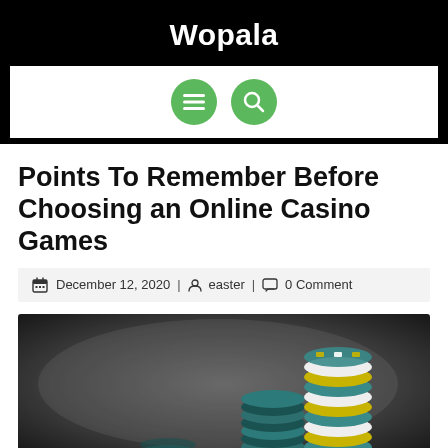Wopala
[Figure (screenshot): Navigation bar with green circular menu icon and green circular search icon on white background]
Points To Remember Before Choosing an Online Casino Games
December 12, 2020 | easter | 0 Comment
[Figure (photo): Photo of stacks of casino chips (teal/green and yellow/white) on a dark blurred background]